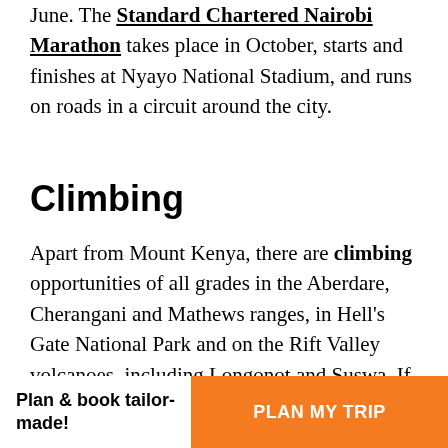June. The Standard Chartered Nairobi Marathon takes place in October, starts and finishes at Nyayo National Stadium, and runs on roads in a circuit around the city.
Climbing
Apart from Mount Kenya, there are climbing opportunities of all grades in the Aberdare, Cherangani and Mathews ranges, in Hell's Gate National Park and on the Rift Valley volcanoes, including Longonot and Suswa. If you intend to do any serious climbing in the country, you should make contact with the Mountain Club of Kenya, which has its clubhouse at the Nairobi Sailing and Sub Aqua
Plan & book tailor-made!
PLAN MY TRIP